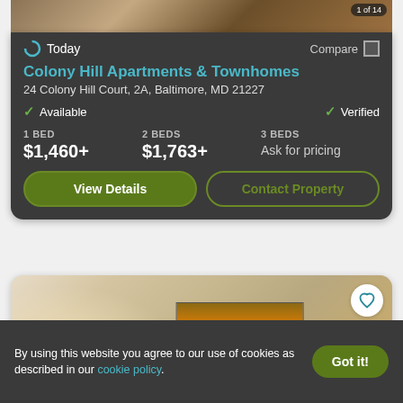[Figure (photo): Top portion of an apartment interior photo showing hardwood floors and furniture, partially cropped. Counter badge shows '1 of 14'.]
Today
Compare
Colony Hill Apartments & Townhomes
24 Colony Hill Court, 2A, Baltimore, MD 21227
✓ Available
✓ Verified
1 BED
$1,460+
2 BEDS
$1,763+
3 BEDS
Ask for pricing
View Details
Contact Property
[Figure (photo): Interior photo of an apartment room showing warm lighting on wall and a framed abstract artwork. Heart/favorite button visible in top right corner.]
By using this website you agree to our use of cookies as described in our cookie policy.
Got it!